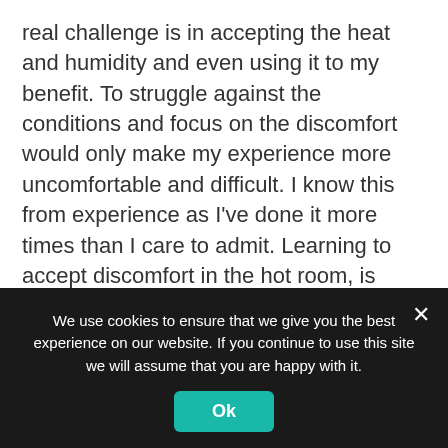real challenge is in accepting the heat and humidity and even using it to my benefit. To struggle against the conditions and focus on the discomfort would only make my experience more uncomfortable and difficult. I know this from experience as I've done it more times than I care to admit. Learning to accept discomfort in the hot room, is great practice for life outside of the room.
I also regularly participate in acupuncture and am happy to say that I can't feel the needles once in place – unless I move. So, I do my best
We use cookies to ensure that we give you the best experience on our website. If you continue to use this site we will assume that you are happy with it.